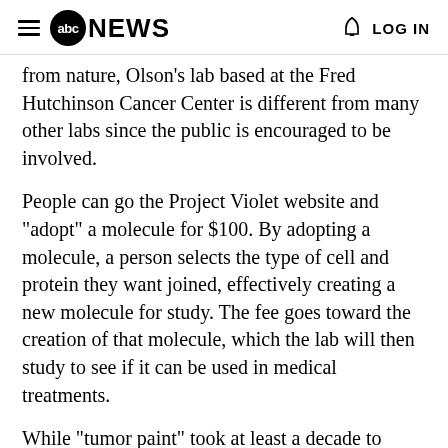abc NEWS  LOG IN
from nature, Olson's lab based at the Fred Hutchinson Cancer Center is different from many other labs since the public is encouraged to be involved.
People can go the Project Violet website and "adopt" a molecule for $100. By adopting a molecule, a person selects the type of cell and protein they want joined, effectively creating a new molecule for study. The fee goes toward the creation of that molecule, which the lab will then study to see if it can be used in medical treatments.
While "tumor paint" took at least a decade to